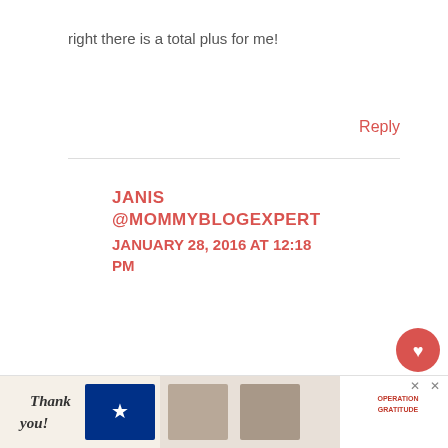right there is a total plus for me!
Reply
JANIS @MOMMYBLOGEXPERT
JANUARY 28, 2016 AT 12:18 PM
Thanks for introducing me to the new Garnier haircare line. They
[Figure (screenshot): Ad banner at bottom showing 'Thank you!' with American flag imagery and Operation Gratitude branding with medical workers photo, plus close buttons]
[Figure (infographic): Heart (like) button in red circle with count of 1 below, and share button below that]